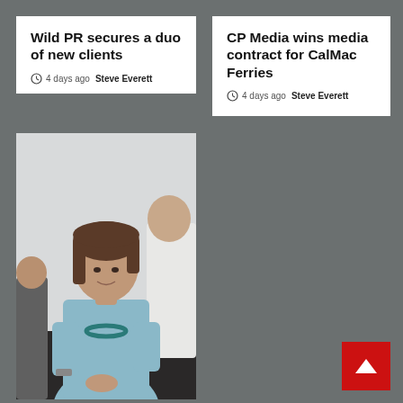Wild PR secures a duo of new clients
4 days ago  Steve Everett
CP Media wins media contract for CalMac Ferries
4 days ago  Steve Everett
[Figure (photo): A woman with short brown hair wearing a light blue top and teal necklace, smiling, seated on a dark sofa. Partial figures of other people visible on the left and right. Light grey background.]